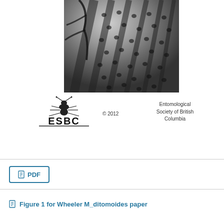[Figure (photo): Black and white close-up macro photograph of an insect wing or body surface showing detailed spotted/dotted pattern texture]
[Figure (logo): ESBC logo — Entomological Society of British Columbia — with stylized insect illustration above the text ESBC with underline]
© 2012
Entomological Society of British Columbia
PDF
Figure 1 for Wheeler M_ditomoides paper